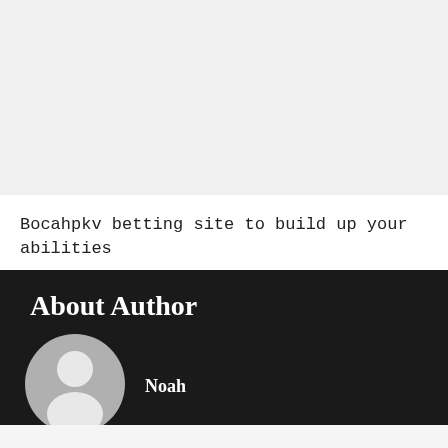[Figure (other): Light grey rectangular placeholder area at the top of the page]
Bocahpkv betting site to build up your abilities
About Author
[Figure (illustration): Circular avatar/profile placeholder image with grey background and white silhouette of a person]
Noah